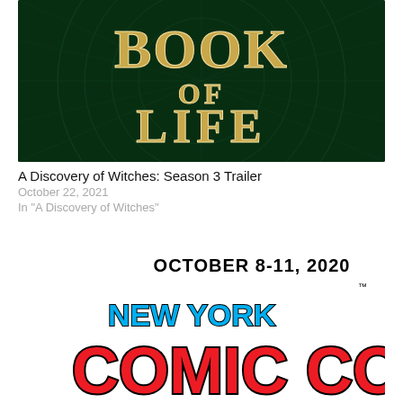[Figure (illustration): Book of Life dark green mystical book cover with golden text reading 'Book of Life']
A Discovery of Witches: Season 3 Trailer
October 22, 2021
In "A Discovery of Witches"
[Figure (logo): New York Comic Con logo with text 'OCTOBER 8-11, 2020' and 'by REEDPOP']
#NYCC Day One – Recap
October 9, 2020